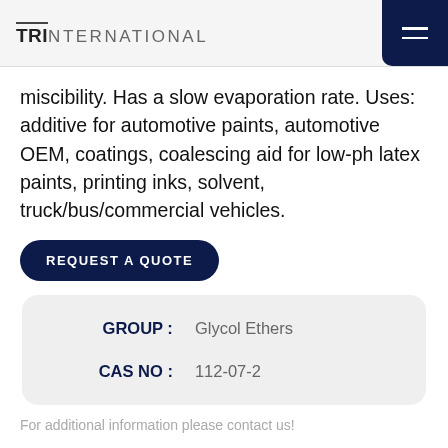TRINTERNATIONAL
miscibility. Has a slow evaporation rate. Uses: additive for automotive paints, automotive OEM, coatings, coalescing aid for low-ph latex paints, printing inks, solvent, truck/bus/commercial vehicles.
REQUEST A QUOTE
| Field | Value |
| --- | --- |
| GROUP : | Glycol Ethers |
| CAS NO : | 112-07-2 |
For additional information please contact us!